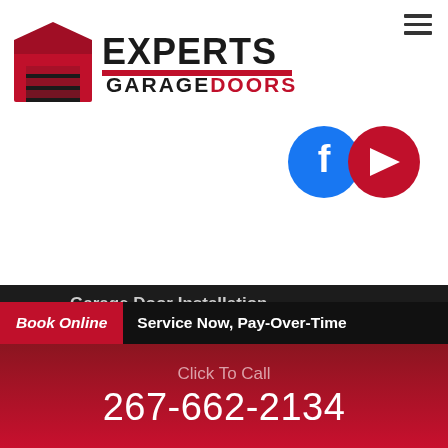[Figure (logo): Experts Garage Doors logo with a garage icon on the left and bold EXPERTS text above GARAGE DOORS text]
[Figure (infographic): Facebook and YouTube social media circular icons in blue and red]
Garage Door Installation
Garage Door Spring Repair
Service Area
CONTACT US
267-662-2134
info@expertsgaragedoors.com
Book Online  Service Now, Pay-Over-Time
Click To Call
267-662-2134